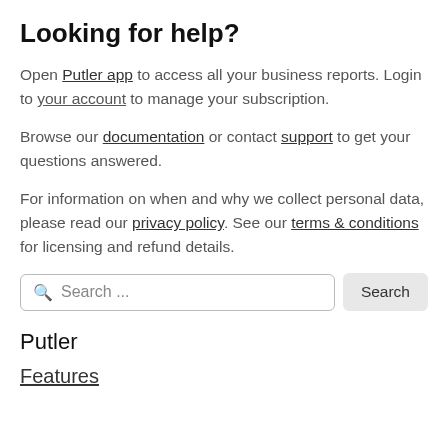Looking for help?
Open Putler app to access all your business reports. Login to your account to manage your subscription.
Browse our documentation or contact support to get your questions answered.
For information on when and why we collect personal data, please read our privacy policy. See our terms & conditions for licensing and refund details.
Search ...
Putler
Features